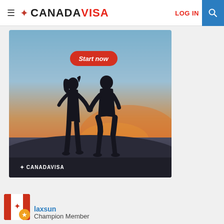≡ ✦ CANADAVISA  LOG IN 🔍
[Figure (illustration): Advertisement banner showing silhouettes of a couple holding hands at sunset with a 'Start now' button and CANADAVISA logo overlay]
laxsun
Champion Member